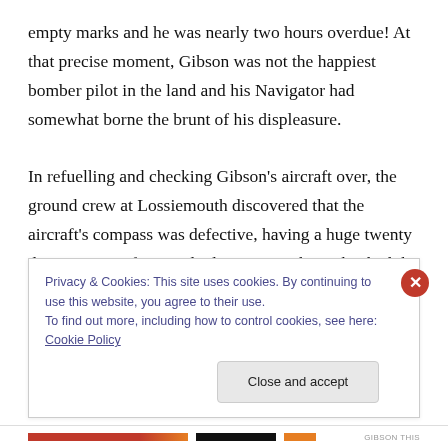empty marks and he was nearly two hours overdue! At that precise moment, Gibson was not the happiest bomber pilot in the land and his Navigator had somewhat borne the brunt of his displeasure.

In refuelling and checking Gibson's aircraft over, the ground crew at Lossiemouth discovered that the aircraft's compass was defective, having a huge twenty degree range of unsteady deviation. Gibson thanked the crew chief then went to seek out Jack, his Navigator. Having found him, Gibson explained what he'd just been told
Privacy & Cookies: This site uses cookies. By continuing to use this website, you agree to their use.
To find out more, including how to control cookies, see here: Cookie Policy